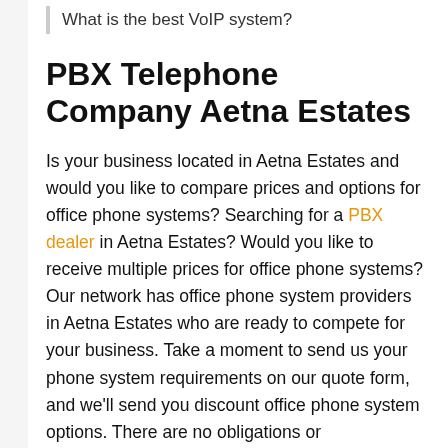What is the best VoIP system?
PBX Telephone Company Aetna Estates
Is your business located in Aetna Estates and would you like to compare prices and options for office phone systems? Searching for a PBX dealer in Aetna Estates? Would you like to receive multiple prices for office phone systems? Our network has office phone system providers in Aetna Estates who are ready to compete for your business. Take a moment to send us your phone system requirements on our quote form, and we’ll send you discount office phone system options. There are no obligations or commitments! Looking for office phone system companies in Aetna Estates?